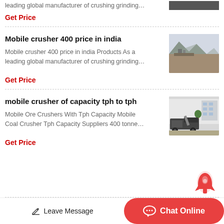leading global manufacturer of crushing grinding…
Get Price
Mobile crusher 400 price in india
Mobile crusher 400 price in india Products As a leading global manufacturer of crushing grinding…
Get Price
mobile crusher of capacity tph to tph
Mobile Ore Crushers With Tph Capacity Mobile Coal Crusher Tph Capacity Suppliers 400 tonne…
Get Price
Leave Message
Chat Online